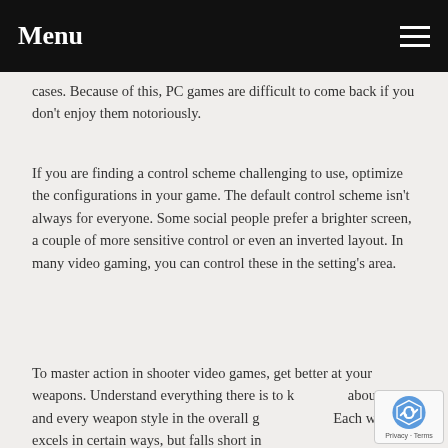Menu
cases. Because of this, PC games are difficult to come back if you don't enjoy them notoriously.
If you are finding a control scheme challenging to use, optimize the configurations in your game. The default control scheme isn't always for everyone. Some social people prefer a brighter screen, a couple of more sensitive control or even an inverted layout. In many video gaming, you can control these in the setting's area.
To master action in shooter video games, get better at your weapons. Understand everything there is to know about each and every weapon style in the overall game. Each weapon excels in certain ways, but falls short in